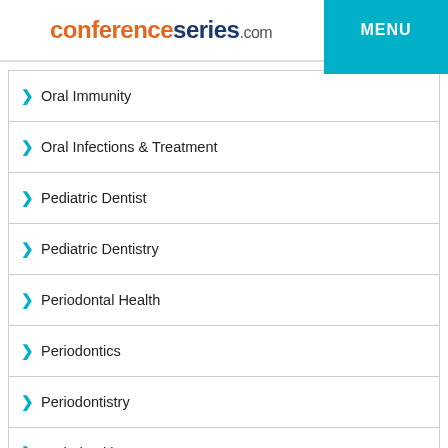conferenceseries.com
Oral Immunity
Oral Infections & Treatment
Pediatric Dentist
Pediatric Dentistry
Periodontal Health
Periodontics
Periodontistry
Periodontitis
Periodontology
+447412303469
Preventive Dentistry